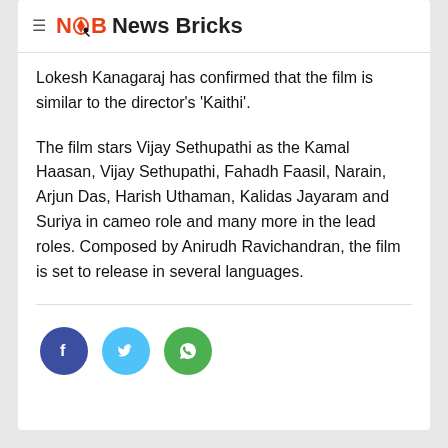≡ NB News Bricks
Lokesh Kanagaraj has confirmed that the film is similar to the director's 'Kaithi'.
The film stars Vijay Sethupathi as the Kamal Haasan, Vijay Sethupathi, Fahadh Faasil, Narain, Arjun Das, Harish Uthaman, Kalidas Jayaram and Suriya in cameo role and many more in the lead roles. Composed by Anirudh Ravichandran, the film is set to release in several languages.
[Figure (infographic): Three social media share buttons: Facebook (dark blue circle with f icon), Twitter (light blue circle with bird icon), WhatsApp (green circle with phone icon)]